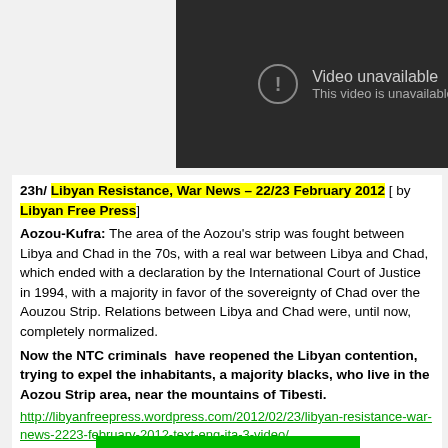[Figure (screenshot): Embedded video player showing 'Video unavailable / This video is unavailable' message on dark background with play button icon]
23h/ Libyan Resistance, War News – 22/23 February 2012 [ by Libyan Free Press]
Aozou-Kufra: The area of the Aozou's strip was fought between Libya and Chad in the 70s, with a real war between Libya and Chad, which ended with a declaration by the International Court of Justice in 1994, with a majority in favor of the sovereignty of Chad over the Aouzou Strip. Relations between Libya and Chad were, until now, completely normalized.
Now the NTC criminals  have reopened the Libyan contention, trying to expel the inhabitants, a majority blacks, who live in the Aozou Strip area, near the mountains of Tibesti.
http://libyanfreepress.wordpress.com/2012/02/23/libyan-resistance-war-news-2223-february-2012-text-eng-ita-3-video/
22h/ Libya sells her children. Girls now for sale to pedophiles.